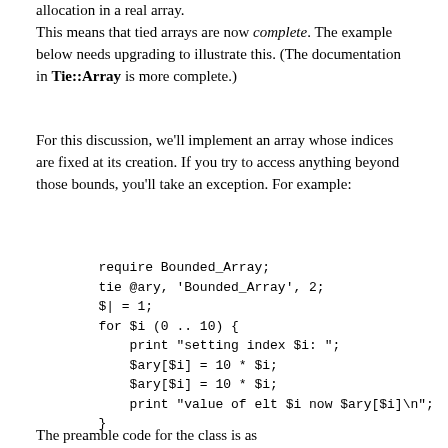allocation in a real array.
This means that tied arrays are now complete. The example below needs upgrading to illustrate this. (The documentation in Tie::Array is more complete.)
For this discussion, we'll implement an array whose indices are fixed at its creation. If you try to access anything beyond those bounds, you'll take an exception. For example:
require Bounded_Array;
        tie @ary, 'Bounded_Array', 2;
        $| = 1;
        for $i (0 .. 10) {
            print "setting index $i: ";
            $ary[$i] = 10 * $i;
            $ary[$i] = 10 * $i;
            print "value of elt $i now $ary[$i]\n";
        }
The preamble code for the class is as